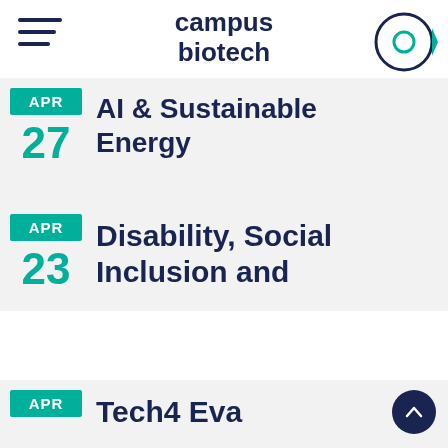campus biotech
APR 27 — AI & Sustainable Energy
APR 23 — Disability, Social Inclusion and
APR — Tech4 Eva